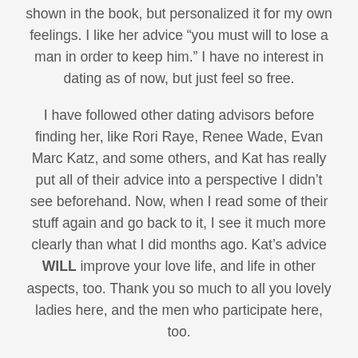shown in the book, but personalized it for my own feelings. I like her advice “you must will to lose a man in order to keep him.” I have no interest in dating as of now, but just feel so free.
I have followed other dating advisors before finding her, like Rori Raye, Renee Wade, Evan Marc Katz, and some others, and Kat has really put all of their advice into a perspective I didn’t see beforehand. Now, when I read some of their stuff again and go back to it, I see it much more clearly than what I did months ago. Kat’s advice WILL improve your love life, and life in other aspects, too. Thank you so much to all you lovely ladies here, and the men who participate here, too.
Renee and Rori both go on about the